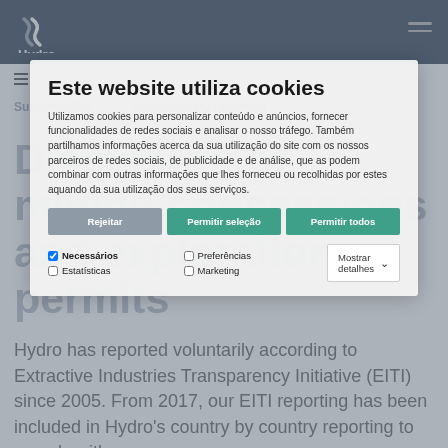Hydro
Disclosure of mining concessions and exploration permits
Hydro has reported voluntarily according to Extractive Industries Transparency Initiative (EITI) since 2005. From 2017, our EITI reporting has been included in Hydro's country by country reporting to comply with
Este website utiliza cookies
Utilizamos cookies para personalizar conteúdo e anúncios, fornecer funcionalidades de redes sociais e analisar o nosso trfego. Também partilhamos informações acerca da sua utilização do site com os nossos parceiros de redes sociais, de publicidade e de análise, que as podem combinar com outras informações que lhes forneceu ou recolhidas por estes aquando da sua utilização dos seus serviços.